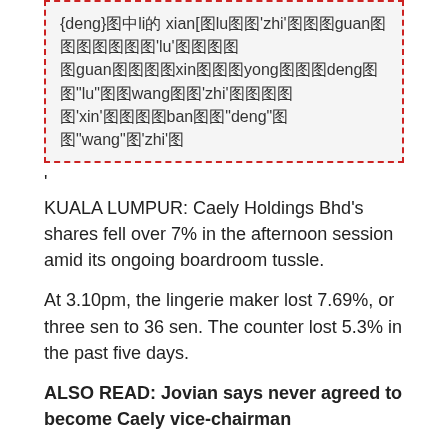[Figure (other): A dashed red-border box containing Chinese/pinyin mixed text about deng, li, xian, lu, zhi, guan, lu, guan, xin, yong, deng, lu, wang, zhi, xin, ban, deng, wang, zhi]
'
KUALA LUMPUR: Caely Holdings Bhd's shares fell over 7% in the afternoon session amid its ongoing boardroom tussle.
At 3.10pm, the lingerie maker lost 7.69%, or three sen to 36 sen. The counter lost 5.3% in the past five days.
ALSO READ: Jovian says never agreed to become Caely vice-chairman
According to filings with Bursa Malaysia, Caely has announced the retraction of Datuk Jovian Mandagie and Sandraruben Neelamagham appointment as directors of the company.
"The appointment of director was not put into effect due to miscommunication," it said.
On Tuesday, Caely announced that Jovian had been appointed as